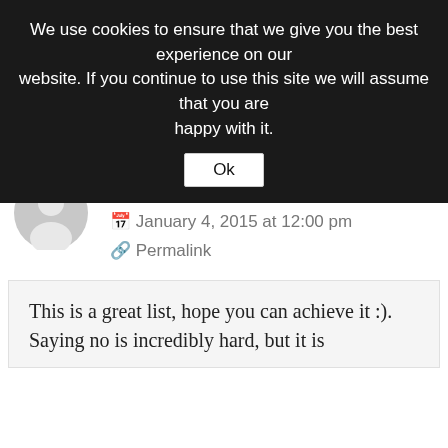We use cookies to ensure that we give you the best experience on our website. If you continue to use this site we will assume that you are happy with it.
Ok
add that as a virtual to my list because I am dreadful for agreeing to things then panicking when I see I can't meet a deadline.
↳ Reply
sustainablemum
January 4, 2015 at 12:00 pm
Permalink
This is a great list, hope you can achieve it :). Saying no is incredibly hard, but it is